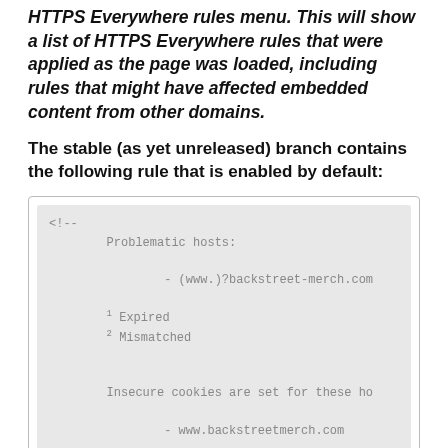HTTPS Everywhere rules menu. This will show a list of HTTPS Everywhere rules that were applied as the page was loaded, including rules that might have affected embedded content from other domains.
The stable (as yet unreleased) branch contains the following rule that is enabled by default:
[Figure (screenshot): Code block showing XML comment with problematic hosts (www.)?backstreet-merch.com, superscript notes 1 Expired 2 Mismatched, insecure cookies note for www.backstreetmerch.com, and a ruleset element for Backstreet International Me...]